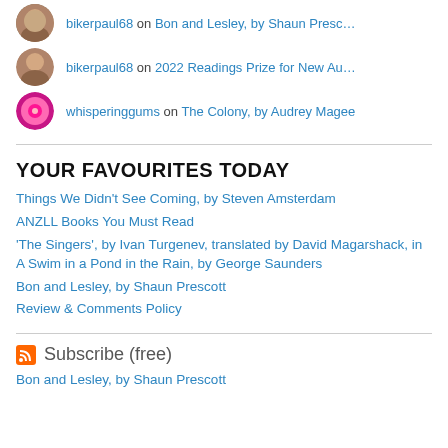bikerpaul68 on Bon and Lesley, by Shaun Presc…
bikerpaul68 on 2022 Readings Prize for New Au…
whisperinggums on The Colony, by Audrey Magee
YOUR FAVOURITES TODAY
Things We Didn't See Coming, by Steven Amsterdam
ANZLL Books You Must Read
'The Singers', by Ivan Turgenev, translated by David Magarshack, in A Swim in a Pond in the Rain, by George Saunders
Bon and Lesley, by Shaun Prescott
Review & Comments Policy
Subscribe (free)
Bon and Lesley, by Shaun Prescott